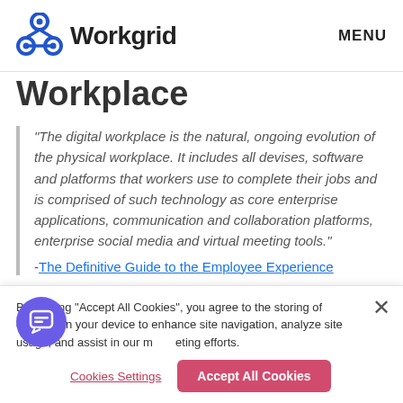Workgrid   MENU
Workplace
“The digital workplace is the natural, ongoing evolution of the physical workplace. It includes all devises, software and platforms that workers use to complete their jobs and is comprised of such technology as core enterprise applications, communication and collaboration platforms, enterprise social media and virtual meeting tools.” -The Definitive Guide to the Employee Experience
By clicking “Accept All Cookies”, you agree to the storing of cookies on your device to enhance site navigation, analyze site usage, and assist in our marketing efforts.
Cookies Settings   Accept All Cookies